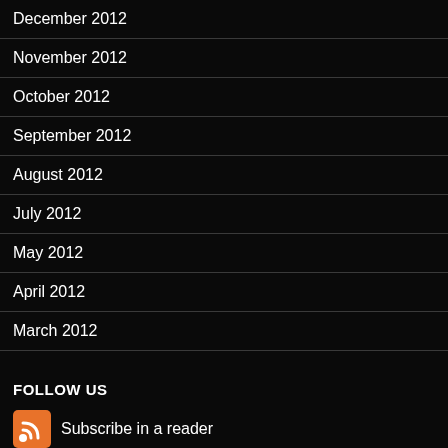December 2012
November 2012
October 2012
September 2012
August 2012
July 2012
May 2012
April 2012
March 2012
FOLLOW US
Subscribe in a reader